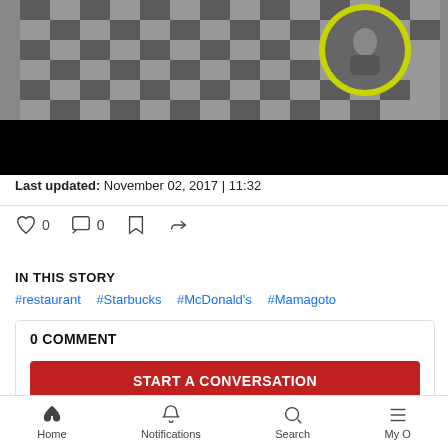[Figure (photo): A black and white photo of a person in a checkered shirt, with a circular yellow-bordered profile image in the top right corner. The bottom portion has a black bar.]
Last updated: November 02, 2017 | 11:32
[Figure (infographic): Social interaction icons: heart (like) with count 0, comment bubble with count 0, bookmark icon, share icon]
IN THIS STORY
#restaurant #Starbucks #McDonald's #Mamagoto
0 COMMENT
START A CONVERSATION
Home  Notifications  Search  My O